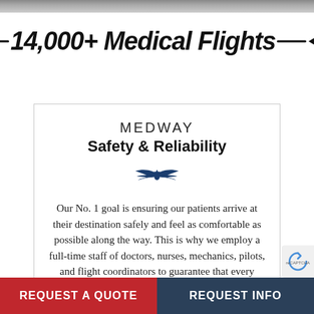[Figure (photo): Top image bar showing partial photo content]
— 14,000+ Medical Flights —✈
MEDWAY Safety & Reliability
[Figure (illustration): Wings/eagle icon in dark blue]
Our No. 1 goal is ensuring our patients arrive at their destination safely and feel as comfortable as possible along the way. This is why we employ a full-time staff of doctors, nurses, mechanics, pilots, and flight coordinators to guarantee that every aspect
REQUEST A QUOTE    REQUEST INFO